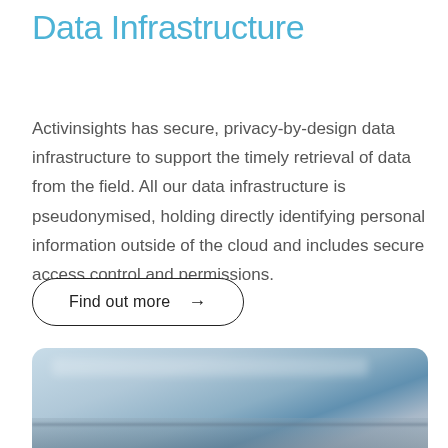Data Infrastructure
Activinsights has secure, privacy-by-design data infrastructure to support the timely retrieval of data from the field. All our data infrastructure is pseudonymised, holding directly identifying personal information outside of the cloud and includes secure access control and permissions.
[Figure (other): Rounded rectangular button with text 'Find out more' and a right-pointing arrow]
[Figure (photo): Blurred photo of a tablet or laptop device on a surface, soft blue-grey tones]